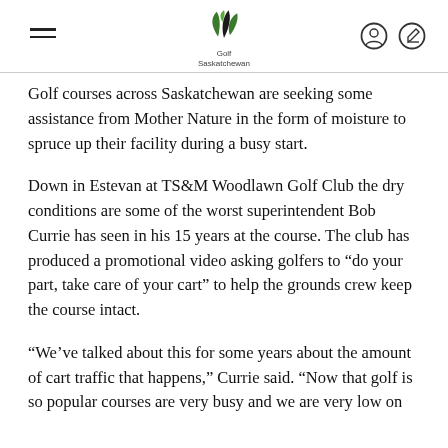Golf Saskatchewan
Golf courses across Saskatchewan are seeking some assistance from Mother Nature in the form of moisture to spruce up their facility during a busy start.
Down in Estevan at TS&M Woodlawn Golf Club the dry conditions are some of the worst superintendent Bob Currie has seen in his 15 years at the course. The club has produced a promotional video asking golfers to “do your part, take care of your cart” to help the grounds crew keep the course intact.
“We’ve talked about this for some years about the amount of cart traffic that happens,” Currie said. “Now that golf is so popular courses are very busy and we are very low on